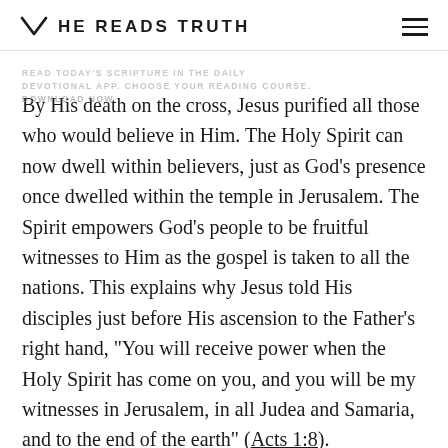HE READS TRUTH
By His death on the cross, Jesus purified all those who would believe in Him. The Holy Spirit can now dwell within believers, just as God’s presence once dwelled within the temple in Jerusalem. The Spirit empowers God’s people to be fruitful witnesses to Him as the gospel is taken to all the nations. This explains why Jesus told His disciples just before His ascension to the Father’s right hand, “You will receive power when the Holy Spirit has come on you, and you will be my witnesses in Jerusalem, in all Judea and Samaria, and to the end of the earth” (Acts 1:8).
Jesus Christ has ascended to the right hand of the Father and is now reigning. He has been given the nations as an inheritance, and He has tasked us with helping to bring…